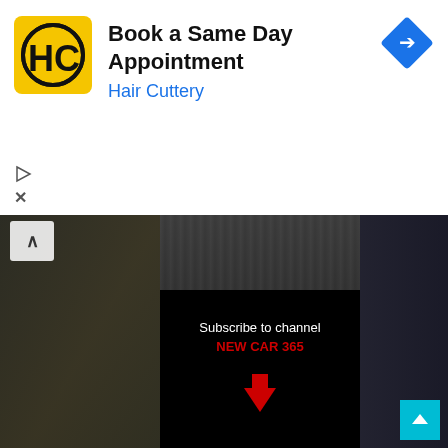[Figure (screenshot): Hair Cuttery advertisement banner with logo (HC in black and yellow circle), title 'Book a Same Day Appointment', subtitle 'Hair Cuttery' in blue, and a blue navigation/arrow diamond icon on the right. Play and close icons on the left below.]
[Figure (screenshot): Video thumbnail showing a blurred crowd scene with a center black overlay panel reading 'Subscribe to channel' and 'NEW CAR 365' in red text with a red downward arrow. A collapse (^) button is visible top-left.]
NO PREP KINGS
Street Outlaws 2022 Is Big Chief Coming Back#shorts
140 views · 4 months ago
[Figure (screenshot): Video thumbnail showing a dark car scene with 'Street Outlaws' text at top on black background, and a center panel showing a 'NEW' badge with car icon and a modern dark SUV/truck on a road.]